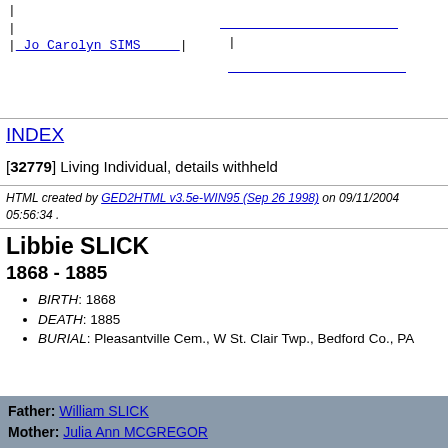[Figure (other): Genealogy tree lines with link to Jo Carolyn SIMS and blank fill lines]
INDEX
[32779] Living Individual, details withheld
HTML created by GED2HTML v3.5e-WIN95 (Sep 26 1998) on 09/11/2004 05:56:34 .
Libbie SLICK
1868 - 1885
BIRTH: 1868
DEATH: 1885
BURIAL: Pleasantville Cem., W St. Clair Twp., Bedford Co., PA
Father: William SLICK
Mother: Julia Ann MCGREGOR